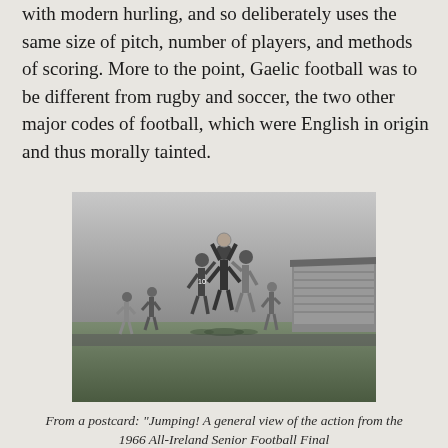with modern hurling, and so deliberately uses the same size of pitch, number of players, and methods of scoring. More to the point, Gaelic football was to be different from rugby and soccer, the two other major codes of football, which were English in origin and thus morally tainted.
[Figure (photo): Black and white photograph of players jumping for a football during the 1966 All-Ireland Senior Football Final, with a stadium grandstand visible in the background and crowd watching.]
From a postcard: "Jumping! A general view of the action from the 1966 All-Ireland Senior Football Final